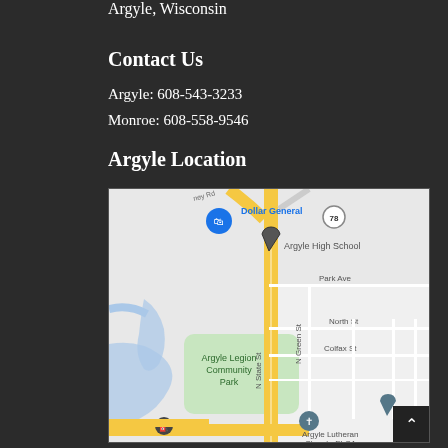Argyle, Wisconsin
Contact Us
Argyle: 608-543-3233
Monroe: 608-558-9546
Argyle Location
[Figure (map): Google Maps view of Argyle, Wisconsin showing Dollar General, Argyle High School, Argyle Legion Community Park, N State St, Park Ave, North St, N Green St, Colfax St, Argyle Lutheran Church ELCA, Erickson, and a gas station.]